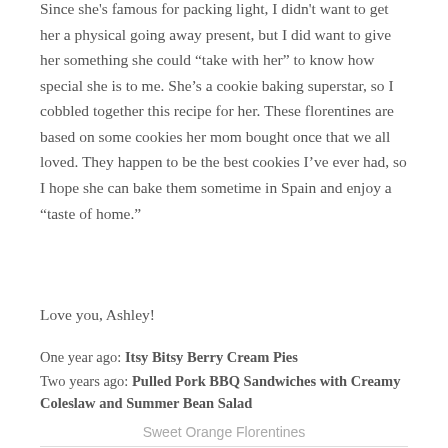Since she's famous for packing light, I didn't want to get her a physical going away present, but I did want to give her something she could “take with her” to know how special she is to me. She’s a cookie baking superstar, so I cobbled together this recipe for her. These florentines are based on some cookies her mom bought once that we all loved. They happen to be the best cookies I’ve ever had, so I hope she can bake them sometime in Spain and enjoy a “taste of home.”
Love you, Ashley!
One year ago: Itsy Bitsy Berry Cream Pies
Two years ago: Pulled Pork BBQ Sandwiches with Creamy Coleslaw and Summer Bean Salad
Sweet Orange Florentines
[Figure (other): Advertisement banner with dark background showing 'SHE CAN STEM' text in white bold uppercase letters, with an X close button and a W logo in the top right corner.]